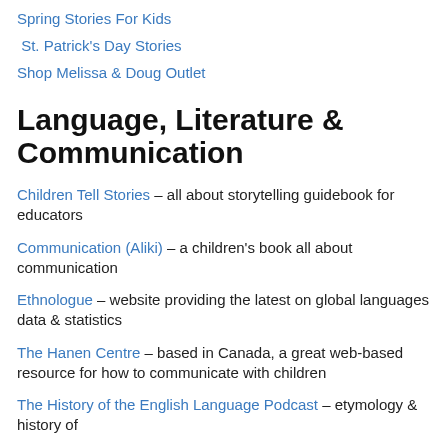Spring Stories For Kids
St. Patrick's Day Stories
Shop Melissa & Doug Outlet
Language, Literature & Communication
Children Tell Stories – all about storytelling guidebook for educators
Communication (Aliki) – a children's book all about communication
Ethnologue – website providing the latest on global languages data & statistics
The Hanen Centre – based in Canada, a great web-based resource for how to communicate with children
The History of the English Language Podcast – etymology & history of